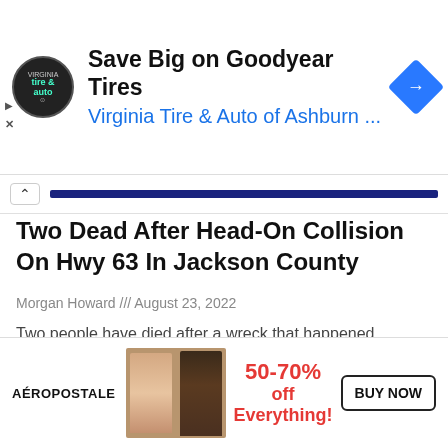[Figure (other): Advertisement banner for Virginia Tire & Auto of Ashburn showing Goodyear Tires promotion with circular logo and blue diamond navigation icon]
Save Big on Goodyear Tires
Virginia Tire & Auto of Ashburn ...
Two Dead After Head-On Collision On Hwy 63 In Jackson County
Morgan Howard /// August 23, 2022
Two people have died after a wreck that happened Monday evening in Jackson County. According to MHP, around 9:24, a 1999 Ford F-150 pickup driven
READ MORE »
[Figure (other): Aéropostale advertisement showing two female models and 50-70% off Everything promotion with BUY NOW button]